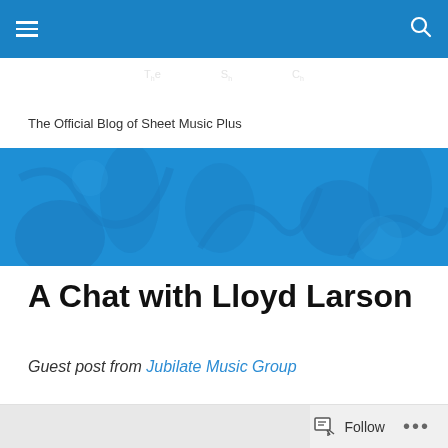Navigation bar with hamburger menu and search icon
[Figure (screenshot): Blue header navigation bar with white hamburger menu icon on the left and white search (magnifying glass) icon on the right]
The Official Blog of Sheet Music Plus
[Figure (illustration): Blue banner image showing abstract musical instruments and figures in a blue tonal illustration style]
A Chat with Lloyd Larson
Guest post from Jubilate Music Group
Follow button bar with ellipsis menu